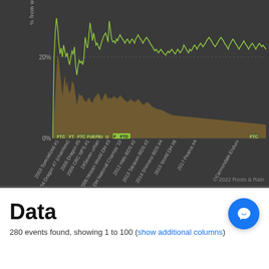[Figure (area-chart): Area/line chart showing percentage over time across many cycling events from 2003 Specialized #1 through Cannondale Enduro. Brown filled area with bright green line overlay. Y-axis shows 0% and 20% markers. Various FTC/FTD labels appear along x-axis at event markers.]
© 2022 Roots & Rain
Data
280 events found, showing 1 to 100 (show additional columns)